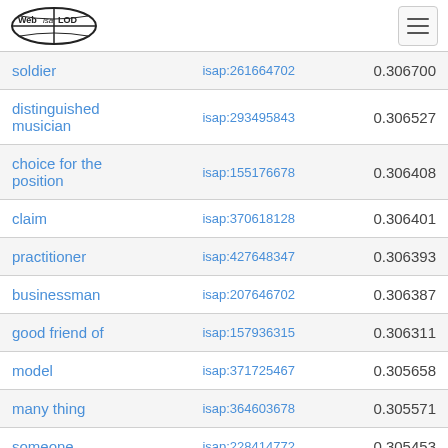Web isa LOD
|  |  |  |
| --- | --- | --- |
| soldier | isap:261664702 | 0.306700 |
| distinguished musician | isap:293495843 | 0.306527 |
| choice for the position | isap:155176678 | 0.306408 |
| claim | isap:370618128 | 0.306401 |
| practitioner | isap:427648347 | 0.306393 |
| businessman | isap:207646702 | 0.306387 |
| good friend of | isap:157936315 | 0.306311 |
| model | isap:371725467 | 0.305658 |
| many thing | isap:364603678 | 0.305571 |
| someone | isap:228414772 | 0.305453 |